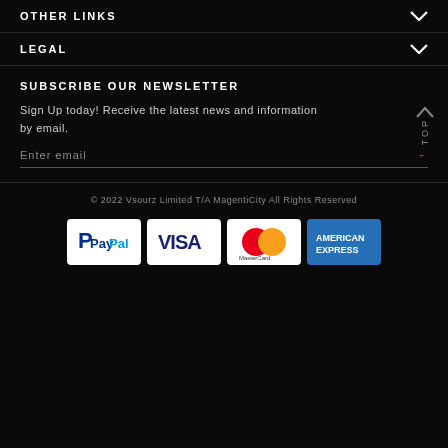OTHER LINKS
LEGAL
SUBSCRIBE OUR NEWSLETTER
Sign Up today! Receive the latest news and information by email.
Enter email
© 2022 Vsourz Limited T/A MagentiCity All Rights Reserved
[Figure (other): Payment method logos: PayPal, VISA, MasterCard, American Express]